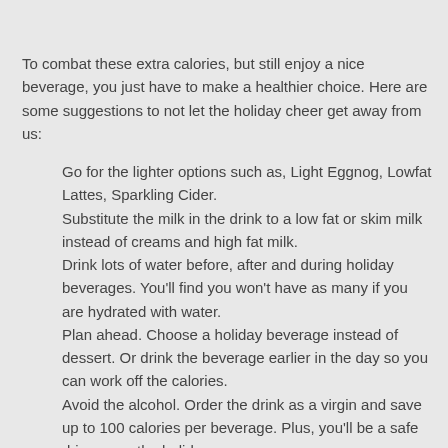To combat these extra calories, but still enjoy a nice beverage, you just have to make a healthier choice. Here are some suggestions to not let the holiday cheer get away from us:
Go for the lighter options such as, Light Eggnog, Lowfat Lattes, Sparkling Cider.
Substitute the milk in the drink to a low fat or skim milk instead of creams and high fat milk.
Drink lots of water before, after and during holiday beverages. You'll find you won't have as many if you are hydrated with water.
Plan ahead. Choose a holiday beverage instead of dessert. Or drink the beverage earlier in the day so you can work off the calories.
Avoid the alcohol. Order the drink as a virgin and save up to 100 calories per beverage. Plus, you'll be a safe driver over the holiday season.
Skip the extras. Avoid the whipped topping, chocolate sauce, sprinkles or candy cane. Even go as far ahead and ask the barista to give fewer pumps of the flavored syrup.
Don't deprive yourself of what you love. Enjoy your favorite, but limit